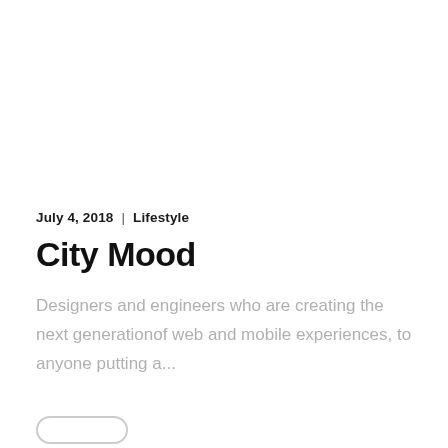July 4, 2018   |   Lifestyle
City Mood
Designers and engineers who are creating the next generationof web and mobile experiences, to anyone putting a...